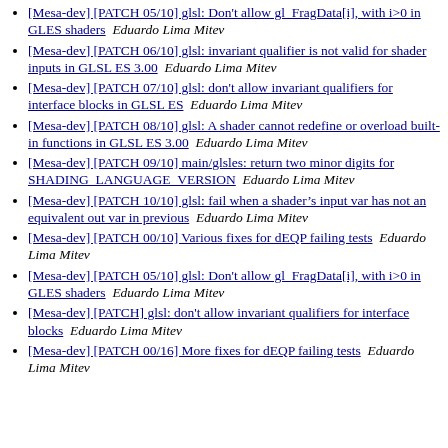[Mesa-dev] [PATCH 05/10] glsl: Don't allow gl_FragData[i], with i>0 in GLES shaders  Eduardo Lima Mitev
[Mesa-dev] [PATCH 06/10] glsl: invariant qualifier is not valid for shader inputs in GLSL ES 3.00  Eduardo Lima Mitev
[Mesa-dev] [PATCH 07/10] glsl: don't allow invariant qualifiers for interface blocks in GLSL ES  Eduardo Lima Mitev
[Mesa-dev] [PATCH 08/10] glsl: A shader cannot redefine or overload built-in functions in GLSL ES 3.00  Eduardo Lima Mitev
[Mesa-dev] [PATCH 09/10] main/glsles: return two minor digits for SHADING_LANGUAGE_VERSION  Eduardo Lima Mitev
[Mesa-dev] [PATCH 10/10] glsl: fail when a shader's input var has not an equivalent out var in previous  Eduardo Lima Mitev
[Mesa-dev] [PATCH 00/10] Various fixes for dEQP failing tests  Eduardo Lima Mitev
[Mesa-dev] [PATCH 05/10] glsl: Don't allow gl_FragData[i], with i>0 in GLES shaders  Eduardo Lima Mitev
[Mesa-dev] [PATCH] glsl: don't allow invariant qualifiers for interface blocks  Eduardo Lima Mitev
[Mesa-dev] [PATCH 00/16] More fixes for dEQP failing tests  Eduardo Lima Mitev